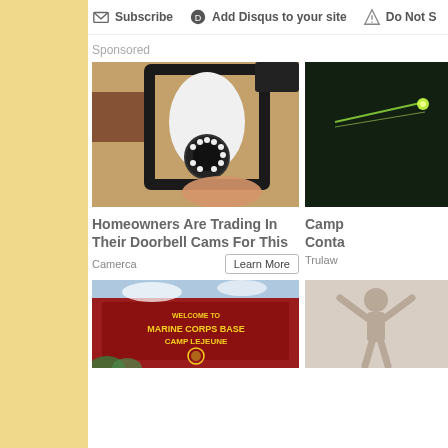Subscribe   Add Disqus to your site   Do Not S
Sponsored
[Figure (photo): Photo of a security camera disguised as a light bulb, installed in an outdoor wall lantern fixture on a stucco wall]
[Figure (photo): Partial photo (cropped) on dark background with light beam, associated with Camp Lejeune contamination ad]
Homeowners Are Trading In Their Doorbell Cams For This
Camp Conta
Camerca
Trulaw
[Figure (photo): Photo of Welcome to Marine Corps Base Camp Lejeune sign on red brick building]
[Figure (photo): Partial cropped photo (right side cut off) associated with another ad]